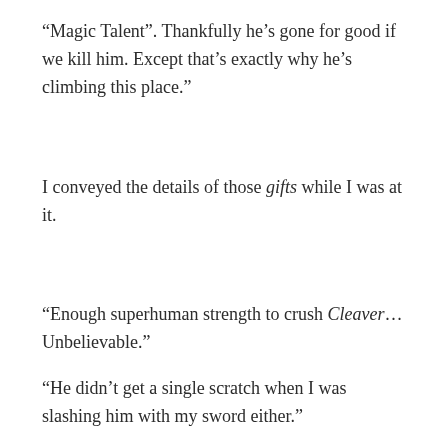“Magic Talent”. Thankfully he’s gone for good if we kill him. Except that’s exactly why he’s climbing this place.”
I conveyed the details of those gifts while I was at it.
“Enough superhuman strength to crush Cleaver… Unbelievable.”
“He didn’t get a single scratch when I was slashing him with my sword either.”
“My rain of [Light Arrows] didn’t even leave a char mark on him.”